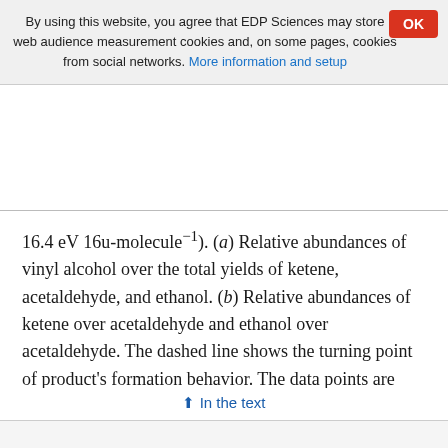By using this website, you agree that EDP Sciences may store web audience measurement cookies and, on some pages, cookies from social networks. More information and setup
16.4 eV 16u-molecule⁻¹). (a) Relative abundances of vinyl alcohol over the total yields of ketene, acetaldehyde, and ethanol. (b) Relative abundances of ketene over acetaldehyde and ethanol over acetaldehyde. The dashed line shows the turning point of product's formation behavior. The data points are connected by solid lines for clarity.
↑ In the text
[Figure (other): Bottom partial figure visible at the bottom of the page]